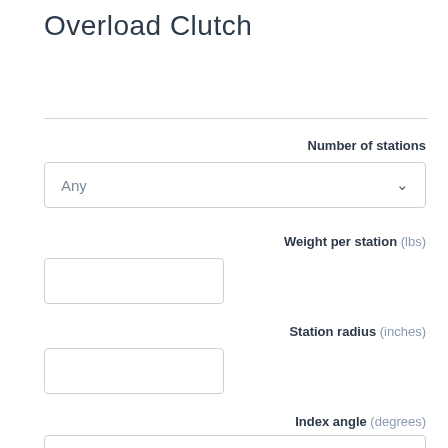Overload Clutch
Number of stations
Any
Weight per station (lbs)
Station radius (inches)
Index angle (degrees)
Any